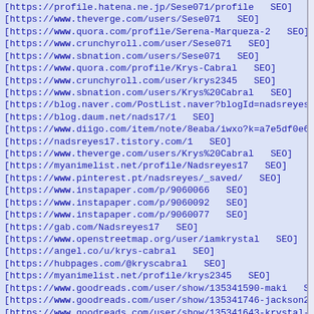[https://profile.hatena.ne.jp/Sese071/profile   SEO]
[https://www.theverge.com/users/Sese071   SEO]
[https://www.quora.com/profile/Serena-Marqueza-2   SEO]
[https://www.crunchyroll.com/user/Sese071   SEO]
[https://www.sbnation.com/users/Sese071   SEO]
[https://www.quora.com/profile/Krys-Cabral   SEO]
[https://www.crunchyroll.com/user/krys2345   SEO]
[https://www.sbnation.com/users/Krys%20Cabral   SEO]
[https://blog.naver.com/PostList.naver?blogId=nadsreyes17
[https://blog.daum.net/nads17/1   SEO]
[https://www.diigo.com/item/note/8eaba/iwxo?k=a7e5df0e61fd4
[https://nadsreyes17.tistory.com/1   SEO]
[https://www.theverge.com/users/Krys%20Cabral   SEO]
[https://myanimelist.net/profile/Nadsreyes17   SEO]
[https://www.pinterest.pt/nadsreyes/_saved/   SEO]
[https://www.instapaper.com/p/9060066   SEO]
[https://www.instapaper.com/p/9060092   SEO]
[https://www.instapaper.com/p/9060077   SEO]
[https://gab.com/Nadsreyes17   SEO]
[https://www.openstreetmap.org/user/iamkrystal   SEO]
[https://angel.co/u/krys-cabral   SEO]
[https://hubpages.com/@kryscabral   SEO]
[https://myanimelist.net/profile/krys2345   SEO]
[https://www.goodreads.com/user/show/135341590-maki   SEO]
[https://www.goodreads.com/user/show/135341746-jackson2121
[https://www.goodreads.com/user/show/135341643-krystal-jung
[https://www.indiegogo.com/individuals/26757522   SEO]
[https://www.twitch.tv/nadsreyes17/schedule   SEO]
[https://www.openstreetmap.org/user/Sese071   SEO]
[https://gab.com/Sese071   SEO]